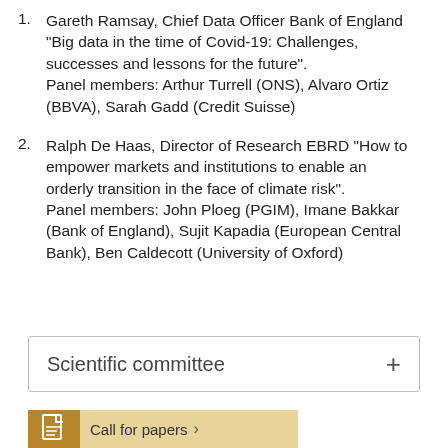Gareth Ramsay, Chief Data Officer Bank of England "Big data in the time of Covid-19: Challenges, successes and lessons for the future". Panel members: Arthur Turrell (ONS), Alvaro Ortiz (BBVA), Sarah Gadd (Credit Suisse)
Ralph De Haas, Director of Research EBRD "How to empower markets and institutions to enable an orderly transition in the face of climate risk". Panel members: John Ploeg (PGIM), Imane Bakkar (Bank of England), Sujit Kapadia (European Central Bank), Ben Caldecott (University of Oxford)
Scientific committee
Call for papers